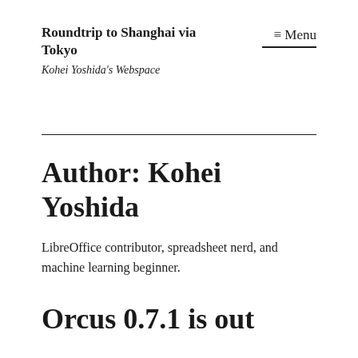Roundtrip to Shanghai via Tokyo
Kohei Yoshida's Webspace
≡ Menu
Author: Kohei Yoshida
LibreOffice contributor, spreadsheet nerd, and machine learning beginner.
Orcus 0.7.1 is out